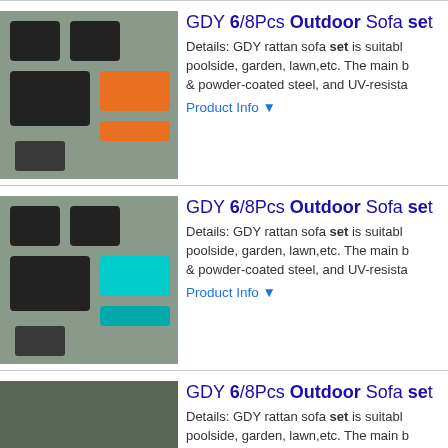GDY 6/8Pcs Outdoor Sofa set - Details: GDY rattan sofa set is suitable poolside, garden, lawn,etc. The main b & powder-coated steel, and UV-resista - Product Info
GDY 6/8Pcs Outdoor Sofa set - Details: GDY rattan sofa set is suitable poolside, garden, lawn,etc. The main b & powder-coated steel, and UV-resista - Product Info
GDY 6/8Pcs Outdoor Sofa set - Details: GDY rattan sofa set is suitable poolside, garden, lawn,etc. The main b & powder-coated steel, and UV-resista - Product Info
GDY 6/8Pcs Outdoor Sofa set - Details: GDY rattan sofa set is suitable poolside, garden, lawn,etc. The main b & powder-coated steel, and UV-resista - Product Info
GDY 6/8Pcs Outdoor Sofa set - Details: GDY rattan sofa set is suitable